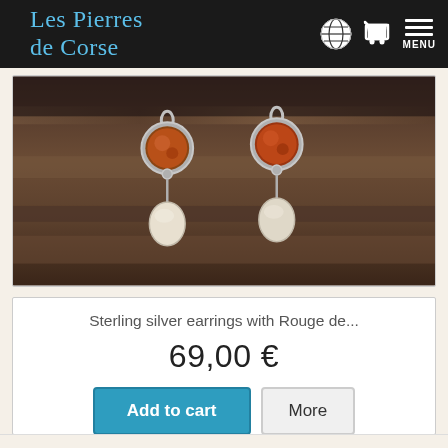Les Pierres de Corse
[Figure (photo): Sterling silver earrings with dark red/amber round stones at top and small white shell or nacre drops below, photographed on driftwood background]
Sterling silver earrings with Rouge de...
69,00 €
Add to cart
More